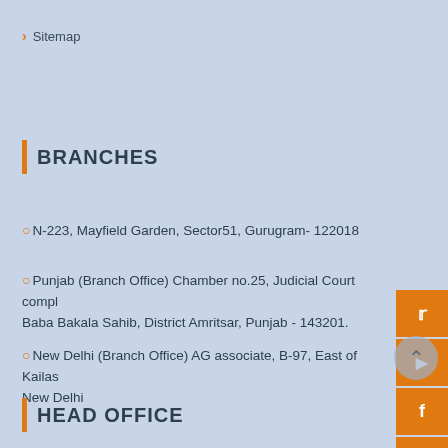> Sitemap
BRANCHES
N-223, Mayfield Garden, Sector51, Gurugram- 122018
Punjab (Branch Office) Chamber no.25, Judicial Court complex, Baba Bakala Sahib, District Amritsar, Punjab - 143201.
New Delhi (Branch Office) AG associate, B-97, East of Kailash, New Delhi
HEAD OFFICE